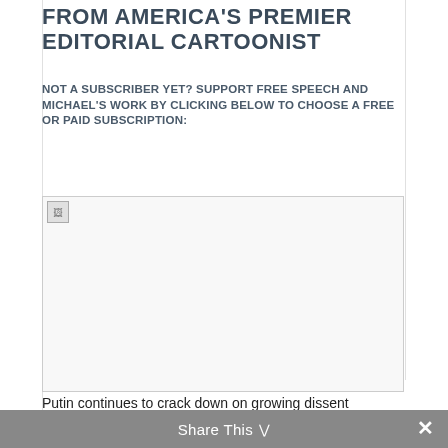FROM AMERICA'S PREMIER EDITORIAL CARTOONIST
NOT A SUBSCRIBER YET? SUPPORT FREE SPEECH AND MICHAEL'S WORK BY CLICKING BELOW TO CHOOSE A FREE OR PAID SUBSCRIPTION:
[Figure (illustration): Broken/unloaded image placeholder representing an editorial cartoon about Putin cracking down on dissent against the war in Ukraine]
Putin continues to crack down on growing dissent against the war in Ukraine. —Michael
Share This ∨  ✕